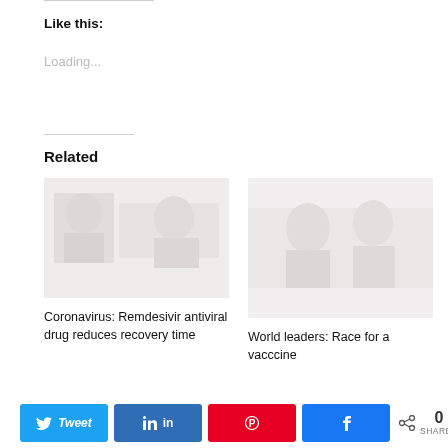Like this:
Loading...
Related
[Figure (photo): Faded photo related to Coronavirus Remdesivir antiviral drug news]
Coronavirus: Remdesivir antiviral drug reduces recovery time
[Figure (photo): Faded photo related to World leaders race for a vaccine news]
World leaders: Race for a vacccine
0 SHARES